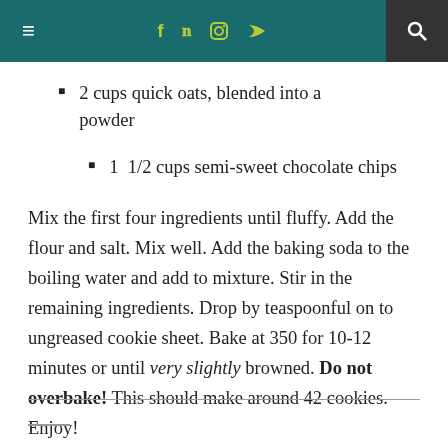≡  f  t  [instagram]  [rss]  [search]
2 cups quick oats, blended into a powder
1  1/2 cups semi-sweet chocolate chips
Mix the first four ingredients until fluffy. Add the flour and salt. Mix well. Add the baking soda to the boiling water and add to mixture. Stir in the remaining ingredients. Drop by teaspoonful on to ungreased cookie sheet. Bake at 350 for 10-12 minutes or until very slightly browned. Do not overbake! This should make around 42 cookies. Enjoy!